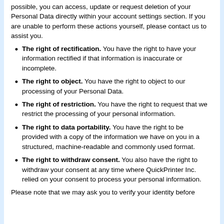possible, you can access, update or request deletion of your Personal Data directly within your account settings section. If you are unable to perform these actions yourself, please contact us to assist you.
The right of rectification. You have the right to have your information rectified if that information is inaccurate or incomplete.
The right to object. You have the right to object to our processing of your Personal Data.
The right of restriction. You have the right to request that we restrict the processing of your personal information.
The right to data portability. You have the right to be provided with a copy of the information we have on you in a structured, machine-readable and commonly used format.
The right to withdraw consent. You also have the right to withdraw your consent at any time where QuickPrinter Inc. relied on your consent to process your personal information.
Please note that we may ask you to verify your identity before